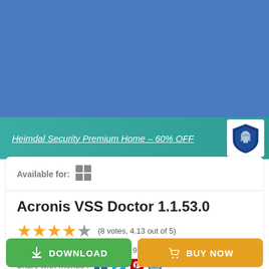[Figure (screenshot): Blue gradient background header area]
Heimdal Security Premium Home – 60% OFF
Available for: [Windows icon]
Acronis VSS Doctor 1.1.53.0
(8 votes, 4.13 out of 5)
2021-09-10  00:00   9849
Share with friends :
DOWNLOAD
BUY NOW